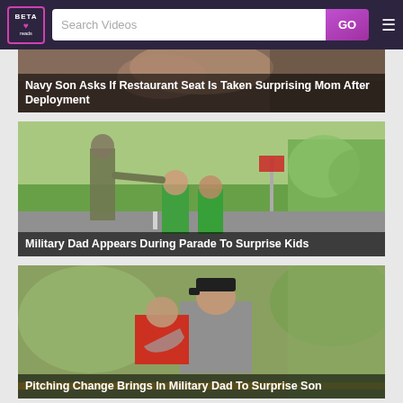BETA reads — Search Videos — GO — menu
[Figure (screenshot): Partial thumbnail of Navy Son video — woman's face close-up]
Navy Son Asks If Restaurant Seat Is Taken Surprising Mom After Deployment
[Figure (screenshot): Children in green shirts reaching toward soldier in camouflage uniform on a road with green lawn]
Military Dad Appears During Parade To Surprise Kids
[Figure (screenshot): Man in baseball cap holding child in red shirt, embracing, outdoors with green foliage]
Pitching Change Brings In Military Dad To Surprise Son
[Figure (screenshot): Partial thumbnail of another military surprise video]